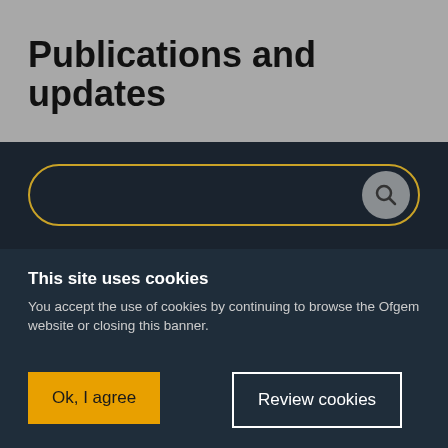Publications and updates
[Figure (screenshot): Search bar with yellow/gold border and circular search icon on dark navy background]
This site uses cookies
You accept the use of cookies by continuing to browse the Ofgem website or closing this banner.
Ok, I agree
Review cookies